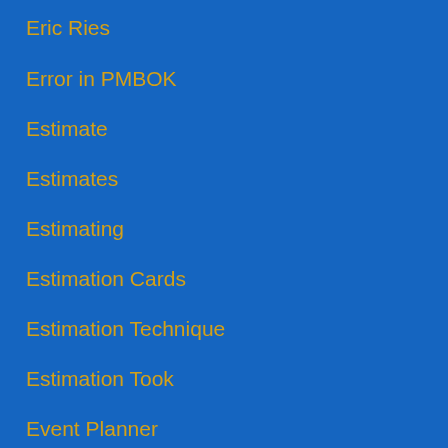Eric Ries
Error in PMBOK
Estimate
Estimates
Estimating
Estimation Cards
Estimation Technique
Estimation Took
Event Planner